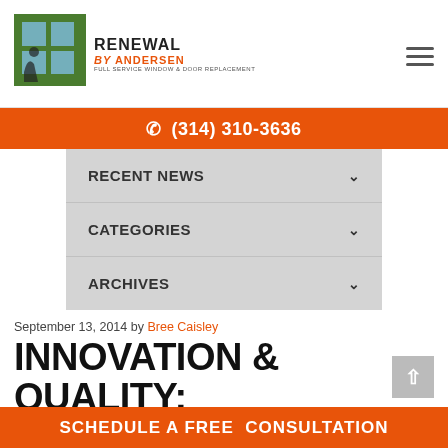Renewal by Andersen - Full Service Window & Door Replacement
(314) 310-3636
RECENT NEWS
CATEGORIES
ARCHIVES
September 13, 2014 by Bree Caisley
INNOVATION & QUALITY: THE ANDERSEN CORPORATION
SCHEDULE A FREE CONSULTATION